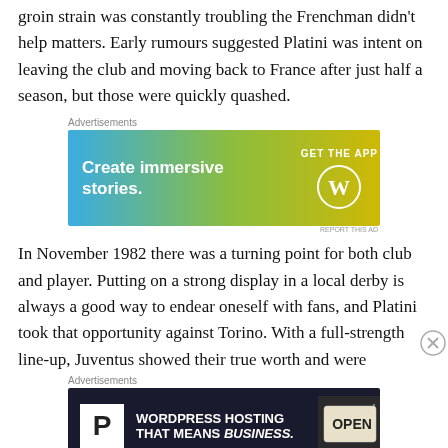groin strain was constantly troubling the Frenchman didn't help matters. Early rumours suggested Platini was intent on leaving the club and moving back to France after just half a season, but those were quickly quashed.
[Figure (other): Advertisement banner: 'Create immersive stories. GET THE APP' with WordPress logo, blue-green-yellow gradient background]
In November 1982 there was a turning point for both club and player. Putting on a strong display in a local derby is always a good way to endear oneself with fans, and Platini took that opportunity against Torino. With a full-strength line-up, Juventus showed their true worth and were
[Figure (other): Advertisement banner: 'WORDPRESS HOSTING THAT MEANS BUSINESS.' with P logo and OPEN sign image]